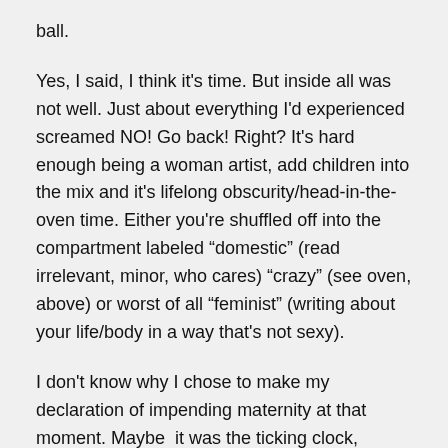ball.
Yes, I said, I think it's time. But inside all was not well. Just about everything I'd experienced screamed NO! Go back! Right? It's hard enough being a woman artist, add children into the mix and it's lifelong obscurity/head-in-the-oven time. Either you're shuffled off into the compartment labeled “domestic” (read irrelevant, minor, who cares) “crazy” (see oven, above) or worst of all “feminist” (writing about your life/body in a way that's not sexy).
I don't know why I chose to make my declaration of impending maternity at that moment. Maybe  it was the ticking clock, maybe all the pseudo-mothering I'd been doing, maybe I was a little allergic to the heightened colony atmosphere, or maybe I was giving up. (More on that later.) But once I'd said it, I